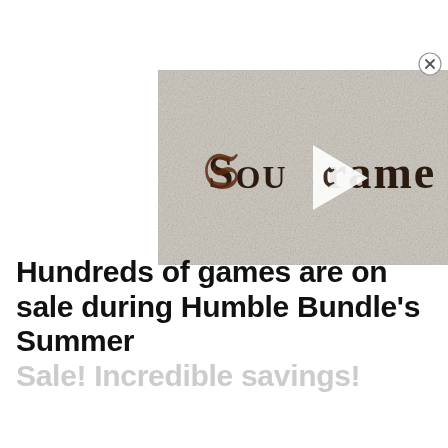[Figure (screenshot): Video thumbnail for Soulframe game, showing stylized gothic text 'Soulframe' on a weathered stone/parchment background with a play button overlay. A circular close (X) button appears in the top-right corner.]
Hundreds of games are on sale during Humble Bundle's Summer Sale! Incredible savings!